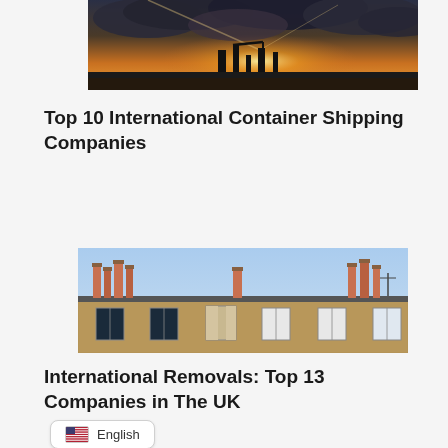[Figure (photo): A dramatic sunset sky with dark storm clouds and golden light breaking through, with silhouettes of industrial structures or buildings against the skyline.]
Top 10 International Container Shipping Companies
[Figure (photo): A row of old brick terraced houses with multiple chimney stacks against a clear blue sky, typical of UK residential architecture.]
International Removals: Top 13 Companies in The UK
English